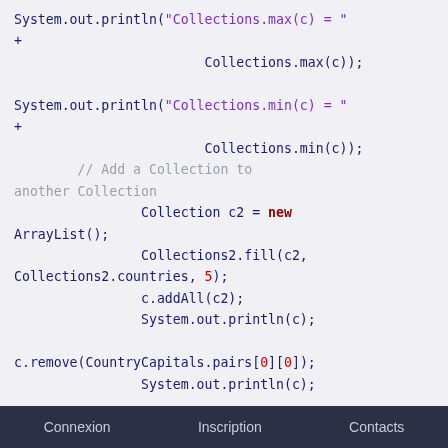System.out.println("Collections.max(c) = " +
                        Collections.max(c));

System.out.println("Collections.min(c) = " +
                        Collections.min(c));
        // Add a Collection to another Collection
                Collection c2 = new ArrayList();
                Collections2.fill(c2, Collections2.countries, 5);
                c.addAll(c2);
                System.out.println(c);

c.remove(CountryCapitals.pairs[0][0]);
                System.out.println(c);

c.remove(CountryCapitals.pairs[1][0]);
                System.out.println(c);
                // Remove all components that are
Connexion    Inscription    Contacts